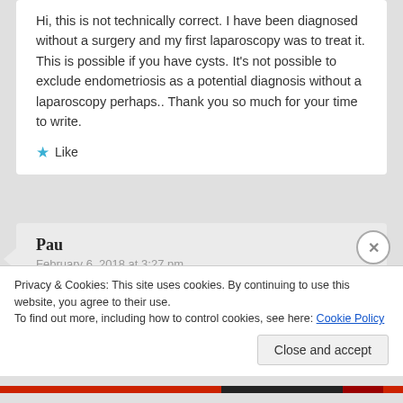Hi, this is not technically correct. I have been diagnosed without a surgery and my first laparoscopy was to treat it. This is possible if you have cysts. It's not possible to exclude endometriosis as a potential diagnosis without a laparoscopy perhaps.. Thank you so much for your time to write.
★ Like
Pau
February 6, 2018 at 3:27 pm
Hi everyone
Privacy & Cookies: This site uses cookies. By continuing to use this website, you agree to their use.
To find out more, including how to control cookies, see here: Cookie Policy
Close and accept